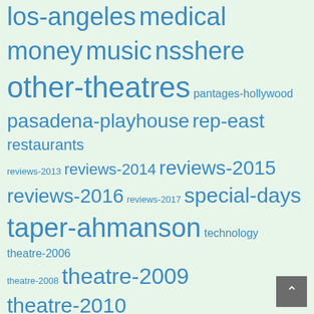los-angeles medical money music nsshere other-theatres pantages-hollywood pasadena-playhouse rep-east restaurants reviews-2013 reviews-2014 reviews-2015 reviews-2016 reviews-2017 special-days taper-ahmanson technology theatre-2006 theatre-2008 theatre-2009 theatre-2010 theatre-2011 theatre-2015 theatre-2016 theatre-2018 various-and-sundry wtf
SEPTEMBER 2022
| M | T | W | T | F | S | S |
| --- | --- | --- | --- | --- | --- | --- |
|  |  |  | 1 | 2 | 3 | 4 |